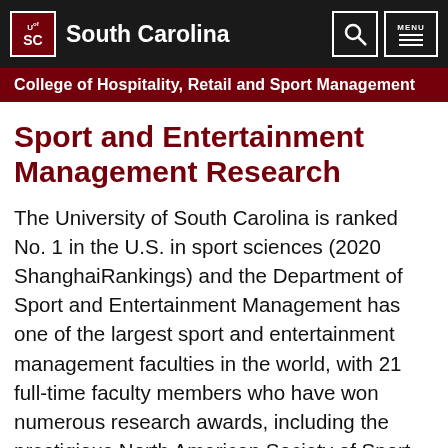South Carolina — University of South Carolina
College of Hospitality, Retail and Sport Management
Sport and Entertainment Management Research
The University of South Carolina is ranked No. 1 in the U.S. in sport sciences (2020 ShanghaiRankings) and the Department of Sport and Entertainment Management has one of the largest sport and entertainment management faculties in the world, with 21 full-time faculty members who have won numerous research awards, including the prestigious North American Society of Sport Management